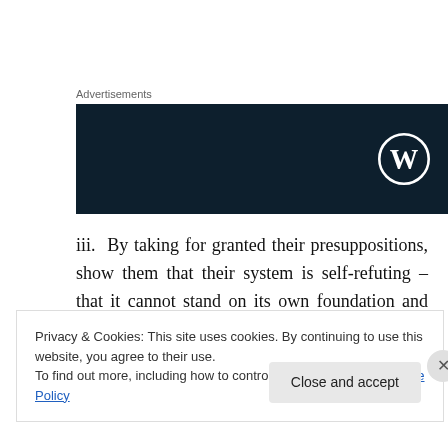Advertisements
[Figure (logo): Dark navy blue advertisement banner with WordPress logo (circle W) in the right side]
iii.  By taking for granted their presuppositions, show them that their system is self-refuting – that it cannot stand on its own foundation and that it destroys itself.
1)    For example, the notion that “truth is
Privacy & Cookies: This site uses cookies. By continuing to use this website, you agree to their use.
To find out more, including how to control cookies, see here: Cookie Policy
Close and accept